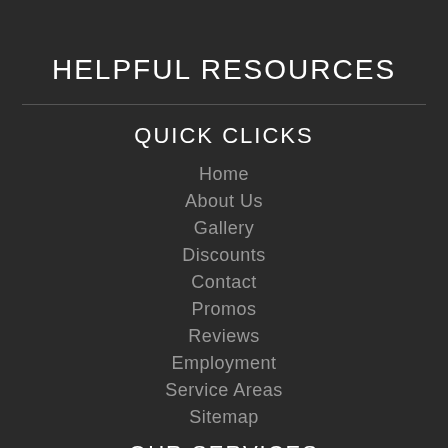HELPFUL RESOURCES
QUICK CLICKS
Home
About Us
Gallery
Discounts
Contact
Promos
Reviews
Employment
Service Areas
Sitemap
OUR SERVICES